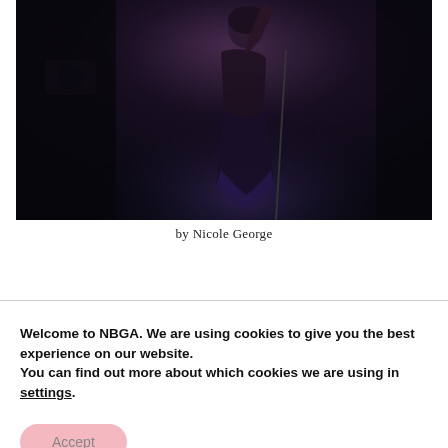[Figure (photo): A female singer performing on a dark stage, wearing a sheer black outfit and holding a microphone stand, with one arm raised. The background is very dark with subtle stage lighting.]
by Nicole George
Welcome to NBGA. We are using cookies to give you the best experience on our website.
You can find out more about which cookies we are using in settings.
Accept